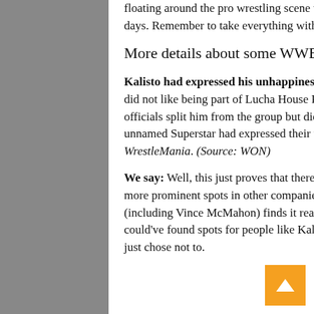floating around the pro wrestling scene that you may have missed over the past few days. Remember to take everything with a grain of salt!
More details about some WWE releases
Kalisto had expressed his unhappiness over his spot on the roster. He reportedly did not like being part of Lucha House Party and wanted to have a singles career; officials split him from the group but did not give him a singles push. One other unnamed Superstar had expressed their unhappiness about not being part of WrestleMania. (Source: WON)
We say: Well, this just proves that there are people who would be happier being in more prominent spots in other companies—and that WWE's Creative team (including Vince McMahon) finds it really hard to find spots for other people. We could've found spots for people like Kalisto and Peyton Royce on the shows; they just chose not to.